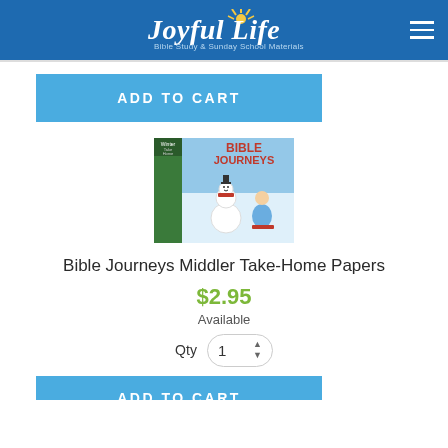Joyful Life — Bible Study & Sunday School Materials
ADD TO CART
[Figure (illustration): Book cover of Bible Journeys Middler Take-Home Papers showing a snowman and children sledding in a winter scene, with a green spine labeled 'Middler']
Bible Journeys Middler Take-Home Papers
$2.95
Available
Qty  1
ADD TO CART